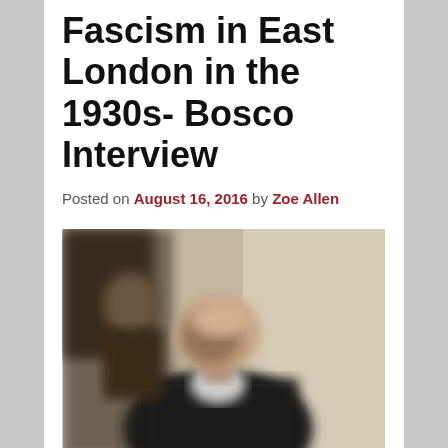Fascism in East London in the 1930s- Bosco Interview
Posted on August 16, 2016 by Zoe Allen
[Figure (photo): A blurred photograph of a person, likely an elderly man, sitting and being interviewed. The image is out of focus with warm and neutral tones.]